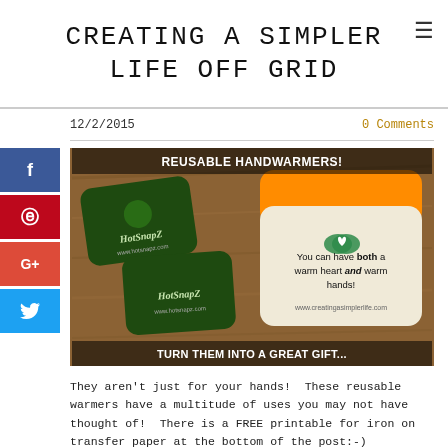CREATING A SIMPLER LIFE OFF GRID
12/2/2015
0 Comments
[Figure (photo): Photo of two HotSnapZ reusable hand warmers (dark green pouches) on a wood surface alongside a fabric pillow handwarmer with text 'You can have both a warm heart and warm hands!' and overlaid text 'REUSABLE HANDWARMERS!' at top and 'TURN THEM INTO A GREAT GIFT...' at bottom.]
They aren't just for your hands!  These reusable warmers have a multitude of uses you may not have thought of!  There is a FREE printable for iron on transfer paper at the bottom of the post:-)